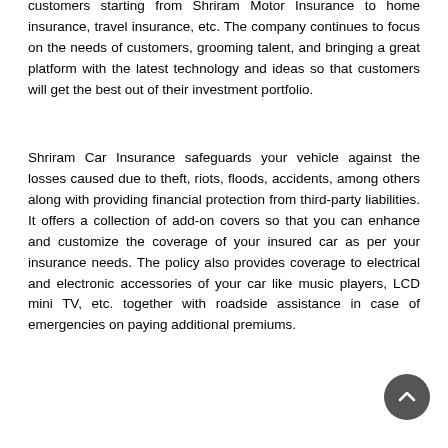customers starting from Shriram Motor Insurance to home insurance, travel insurance, etc. The company continues to focus on the needs of customers, grooming talent, and bringing a great platform with the latest technology and ideas so that customers will get the best out of their investment portfolio.
Shriram Car Insurance safeguards your vehicle against the losses caused due to theft, riots, floods, accidents, among others along with providing financial protection from third-party liabilities. It offers a collection of add-on covers so that you can enhance and customize the coverage of your insured car as per your insurance needs. The policy also provides coverage to electrical and electronic accessories of your car like music players, LCD mini TV, etc. together with roadside assistance in case of emergencies on paying additional premiums.